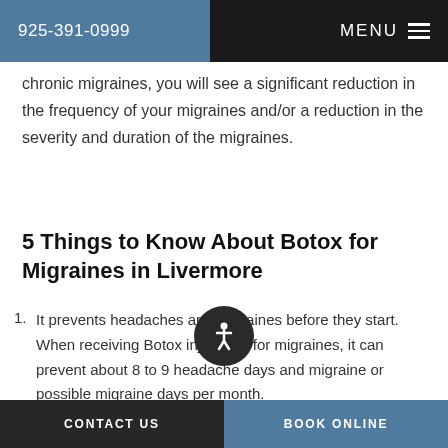925-391-0999   MENU
chronic migraines, you will see a significant reduction in the frequency of your migraines and/or a reduction in the severity and duration of the migraines.
5 Things to Know About Botox for Migraines in Livermore
It prevents headaches and migraines before they start. When receiving Botox injections for migraines, it can prevent about 8 to 9 headache days and migraine or possible migraine days per month.
It's given every 12 weeks. As mentioned above, while some may only need one treatment, it's best
CONTACT US   BOOK ONLINE